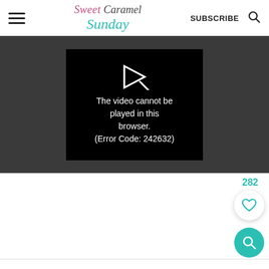Sweet Caramel Sunday | SUBSCRIBE
[Figure (screenshot): Video player error showing a play button icon and text: The video cannot be played in this browser. (Error Code: 242632)]
282
[Figure (other): Heart/save button (white circle with teal heart icon) and teal circular search/magnifier FAB button]